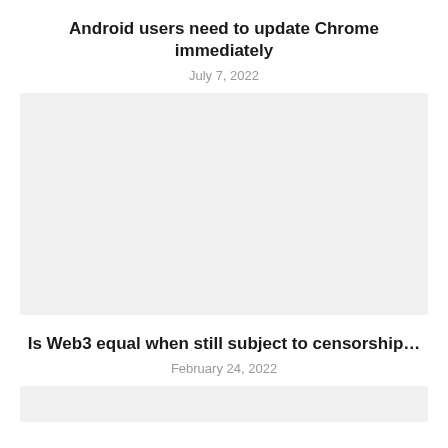Android users need to update Chrome immediately
July 7, 2022
[Figure (photo): Large image placeholder (light gray rectangle) associated with the Chrome/Android article]
Is Web3 equal when still subject to censorship…
February 24, 2022
[Figure (photo): Partial image placeholder (light gray rectangle) at bottom, associated with the Web3 article]